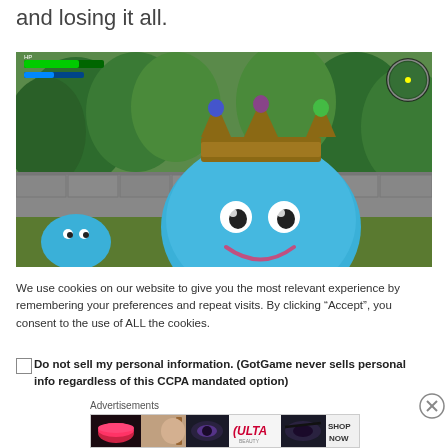and losing it all.
[Figure (screenshot): Screenshot from a video game (Dragon Quest-style) showing a large blue slime character with a crown (King Slime) in a forest/garden environment. HUD elements visible in top-left corner and minimap in top-right.]
We use cookies on our website to give you the most relevant experience by remembering your preferences and repeat visits. By clicking “Accept”, you consent to the use of ALL the cookies.
Do not sell my personal information. (GotGame never sells personal info regardless of this CCPA mandated option)
Advertisements
[Figure (photo): ULTA Beauty advertisement banner showing beauty/makeup imagery with lips, brushes, eyes, and ULTA logo with SHOP NOW text.]